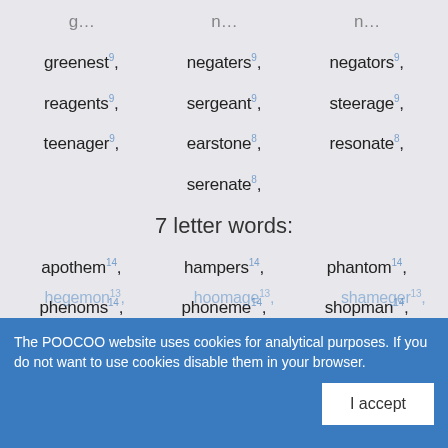greenest 9, negaters 9, negators 9,
reagents 9, sergeant 9, steerage 9,
teenager 9, earstone 8, resonate 8,
serenate 8,
7 letter words:
apothem 14, hampers 14, phantom 14,
phenoms 14, phoneme 14, shopman 14,
shopmen 14, tempehs 14, gophers 13,
The POOCOO website uses cookies for analytical purposes. If you do not want to use cookies disable them in your browser.